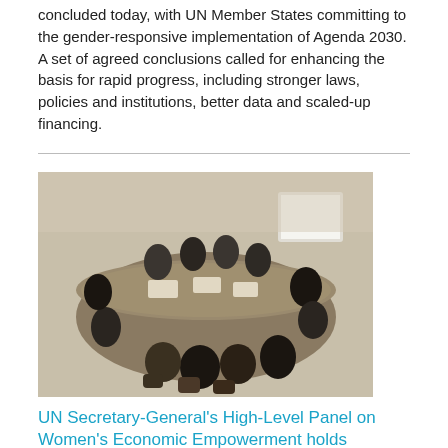concluded today, with UN Member States committing to the gender-responsive implementation of Agenda 2030. A set of agreed conclusions called for enhancing the basis for rapid progress, including stronger laws, policies and institutions, better data and scaled-up financing.
[Figure (photo): A meeting room with people seated around a large round/oval table, seen from above at a slight angle. Appears to be a UN or government high-level meeting.]
UN Secretary-General's High-Level Panel on Women's Economic Empowerment holds inaugural meeting
Date: Tuesday, 15 March 2016
The inaugural meeting of the first-ever High-Level Panel on Women's Economic Empowerment kicked off today during the 60th session of the Commission on the Status of Women. Operating under the aegis of the UN Secretary-General, it intends to put women's economic empowerment at the top of the international agenda, including by defining actions to speed up progress under the 2030 Agenda for Sustainable Development. A global consultation will take place during the continuation of the meeting